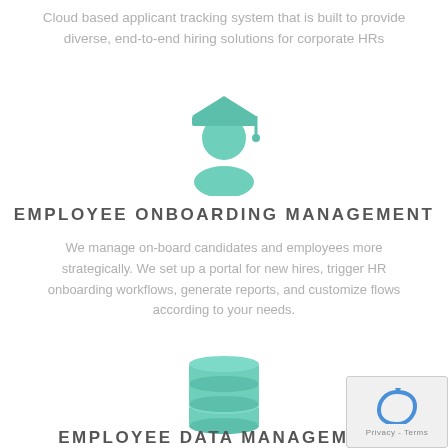Cloud based applicant tracking system that is built to provide diverse, end-to-end hiring solutions for corporate HRs
[Figure (illustration): Teal/mint colored graduation cap and student silhouette icon]
EMPLOYEE ONBOARDING MANAGEMENT
We manage on-board candidates and employees more strategically. We set up a portal for new hires, trigger HR onboarding workflows, generate reports, and customize flows according to your needs.
[Figure (illustration): Teal/mint colored database cylinder stack icon]
EMPLOYEE DATA MANAGEMENT